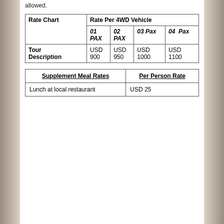allowed.
| Rate Chart | Rate Per 4WD Vehicle |  |  |  |
| --- | --- | --- | --- | --- |
| Tour Description | 01 PAX | 02 PAX | 03 Pax | 04 Pax |
|  | USD 900 | USD 950 | USD 1000 | USD 1100 |
| Supplement Meal Rates | Per Person Rate |
| --- | --- |
| Lunch at local restaurant | USD 25 |